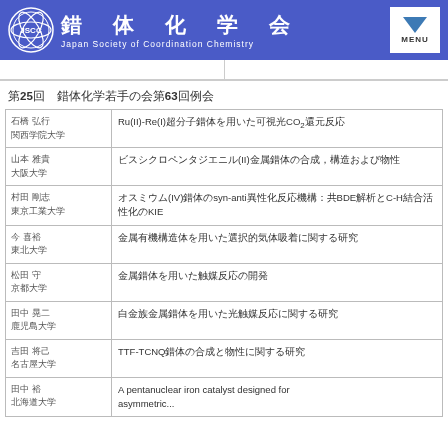錯体化学会 Japan Society of Coordination Chemistry MENU
第25回　錯体化学若手の会63回例会
| 著者・所属 | 講演タイトル |
| --- | --- |
| 石橋 弘行
関西学院大学 | Ru(II)-Re(I)超分子錯体を用いた可視光CO₂還元反応 |
| 山本 雅貴
大阪大学 | ビスシクロペンタジエニル(II)金属錯体の合成、構造および物性 |
| 村田 剛志
東京工業大学 | オスミウム(IV)錯体のsyn-anti異性化反応機構：共BDE解析とC-H結合活性化のKIE |
| 今 喜裕
東北大学 | 金属有機構造体を用いた選択的気体吸着に関する研究 |
| 松田 守
京都大学 | 金属錯体を用いた触媒反応の開発 |
| 田中 晃二
鹿児島大学 | 白金族金属錯体を用いた光触媒反応に関する研究 |
| 吉田 将己
名古屋大学 | TTF-TCNQ錯体の合成と物性に関する研究 |
| 田中 裕
北海道大学 | A pentanuclear iron catalyst designed for... |